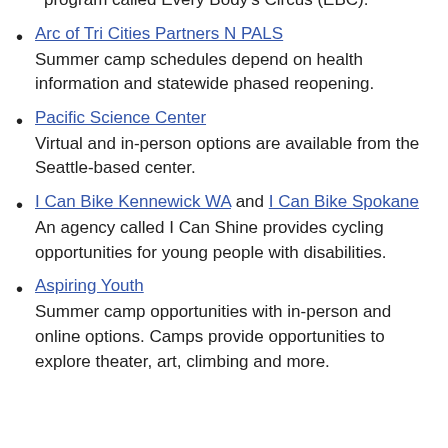program called Every Body's Circus (EBC).
Arc of Tri Cities Partners N PALS
Summer camp schedules depend on health information and statewide phased reopening.
Pacific Science Center
Virtual and in-person options are available from the Seattle-based center.
I Can Bike Kennewick WA and I Can Bike Spokane
An agency called I Can Shine provides cycling opportunities for young people with disabilities.
Aspiring Youth
Summer camp opportunities with in-person and online options. Camps provide opportunities to explore theater, art, climbing and more.